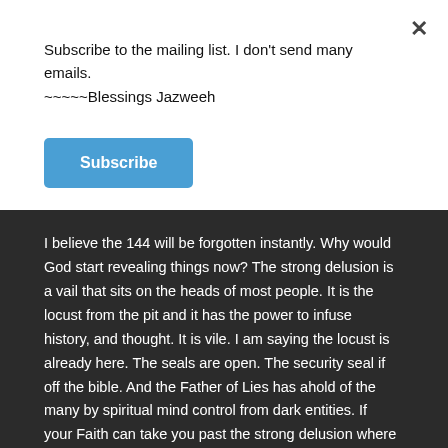Subscribe to the mailing list. I don't send many emails. ~~~~~Blessings Jazweeh
Subscribe
I believe the 144 will be forgotten instantly.  Why would God start revealing things now?  The strong delusion is a vail that sits on the heads of most people.  It is the locust from the pit and it has the power to infuse history, and thought.  It is vile.  I am saying the locust is already here.  The seals are open.  The security seal if off the bible.   And the Father of Lies has ahold of the many by spiritual mind control from dark entities.  If your Faith can take you past the strong delusion where you will not deny God and take the mark to change you into a beast then your soul will be saved.  They will die either way.  But its their soul that